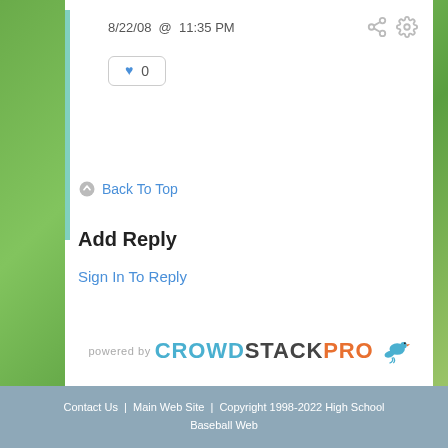8/22/08 @ 11:35 PM
0
Back To Top
Add Reply
Sign In To Reply
[Figure (logo): Powered by CrowdStackPro logo with bird icon]
Contact Us | Main Web Site | Copyright 1998-2022 High School Baseball Web